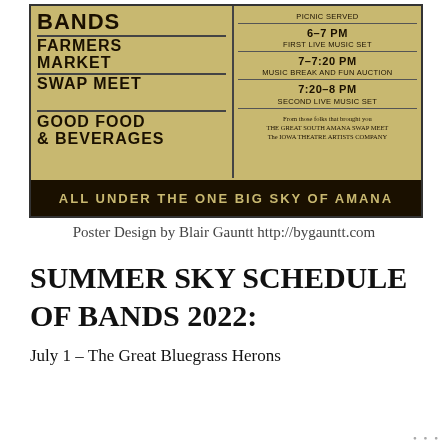[Figure (illustration): Event poster on aged parchment background showing: BANDS, FARMERS MARKET, SWAP MEET, GOOD FOOD & BEVERAGES on the left; schedule on right: PICNIC SERVED, 6-7 PM FIRST LIVE MUSIC SET, 7-7:20 PM MUSIC BREAK AND FUN AUCTION, 7:20-8 PM SECOND LIVE MUSIC SET, note about THE GREAT SOUTH AMANA SWAP MEET and THE IOWA THEATRE ARTISTS COMPANY. Bottom banner reads: ALL UNDER THE ONE BIG SKY OF AMANA]
Poster Design by Blair Gauntt http://bygauntt.com
SUMMER SKY SCHEDULE OF BANDS 2022:
July 1 – The Great Bluegrass Herons